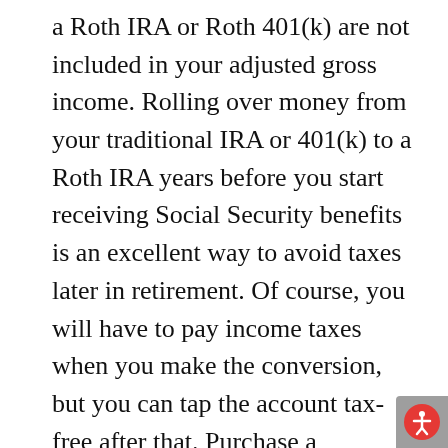a Roth IRA or Roth 401(k) are not included in your adjusted gross income. Rolling over money from your traditional IRA or 401(k) to a Roth IRA years before you start receiving Social Security benefits is an excellent way to avoid taxes later in retirement. Of course, you will have to pay income taxes when you make the conversion, but you can tap the account tax-free after that. Purchase a Qualified Longevity Annuity Contract. You can invest up to $130,000 from your IRA or 401(k) in a deferred-income annuity called a Qualified Longevity Annuity Contract (QLAC). The money in your